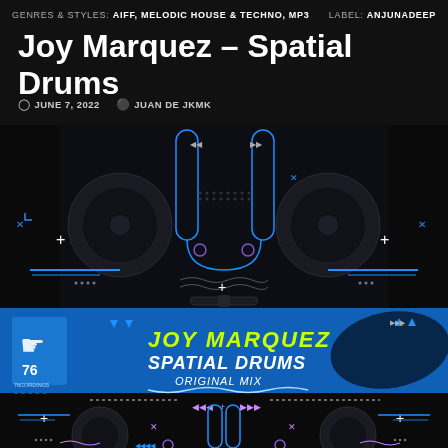GENRES & STYLES: AIFF, MELODIC HOUSE & TECHNO, MP3   LABEL: ANJUNADEEP
Joy Marquez – Spatial Drums
JUNE 7, 2022   JUAN DE JKMK
[Figure (illustration): Album artwork for Joy Marquez - Spatial Drums (Original Mix) on 76 Recordings. Dark background with neon blue outlined DJ mixer/turntable equipment graphic. Center features a blue banner with hand/palm logo and '76 RECORDINGS' text. Stylized graffiti text reads 'JOY MARQUEZ SPATIAL DRUMS ORIGINAL MIX' in yellow/green and white. Various geometric decorative elements in blue, purple, and white scattered around.]